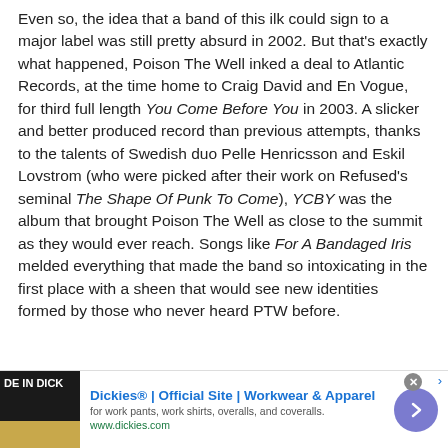Even so, the idea that a band of this ilk could sign to a major label was still pretty absurd in 2002. But that's exactly what happened, Poison The Well inked a deal to Atlantic Records, at the time home to Craig David and En Vogue, for third full length You Come Before You in 2003. A slicker and better produced record than previous attempts, thanks to the talents of Swedish duo Pelle Henricsson and Eskil Lovstrom (who were picked after their work on Refused's seminal The Shape Of Punk To Come), YCBY was the album that brought Poison The Well as close to the summit as they would ever reach. Songs like For A Bandaged Iris melded everything that made the band so intoxicating in the first place with a sheen that would see new identities formed by those who never heard PTW before.
[Figure (other): Dickies advertisement banner showing 'DE IN DICKIES' image on left, ad title 'Dickies® | Official Site | Workwear & Apparel', subtitle 'for work pants, work shirts, overalls, and coveralls.', URL 'www.dickies.com', and a purple arrow button on the right.]